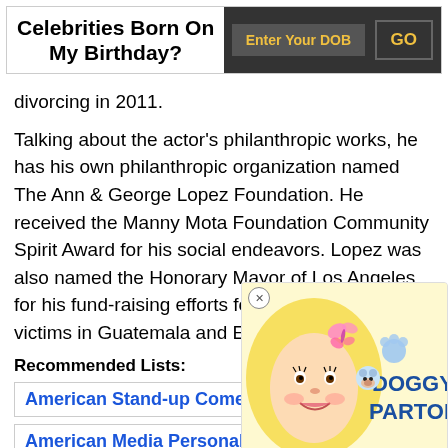Celebrities Born On My Birthday? | Enter Your DOB | GO
divorcing in 2011.
Talking about the actor’s philanthropic works, he has his own philanthropic organization named The Ann & George Lopez Foundation. He received the Manny Mota Foundation Community Spirit Award for his social endeavors. Lopez was also named the Honorary Mayor of Los Angeles for his fund-raising efforts for the earthquake victims in Guatemala and El Salvador.
Recommended Lists:
American Stand-up Comedians
American Media Personalities
[Figure (illustration): Doggy Parton advertisement featuring a cartoon blonde woman's face with pink butterfly and a dog logo with text 'DOGGY PARTON' in blue]